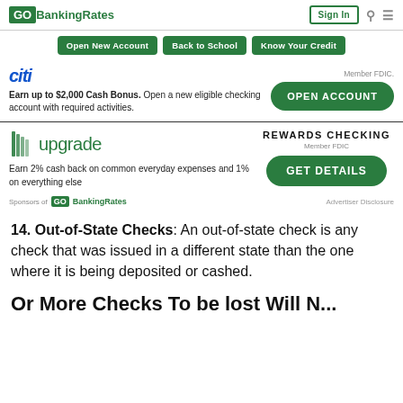GOBankingRates | Sign In
Open New Account | Back to School | Know Your Credit
Earn up to $2,000 Cash Bonus. Open a new eligible checking account with required activities. Member FDIC. OPEN ACCOUNT
REWARDS CHECKING Member FDC. Earn 2% cash back on common everyday expenses and 1% on everything else. GET DETAILS
Sponsors of GOBankingRates | Advertiser Disclosure
14. Out-of-State Checks: An out-of-state check is any check that was issued in a different state than the one where it is being deposited or cashed.
Or More Checks To be lost Will N...